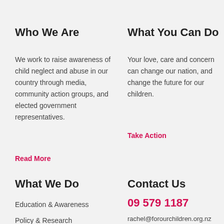Who We Are
We work to raise awareness of child neglect and abuse in our country through media, community action groups, and elected government representatives.
Read More
What We Do
Education & Awareness
Policy & Research
What You Can Do
Your love, care and concern can change our nation, and change the future for our children.
Take Action
Contact Us
09 579 1187
rachel@forourchildren.org.nz